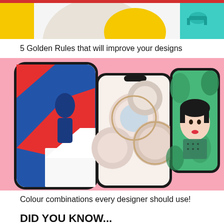[Figure (illustration): Colorful banner with abstract shapes: yellow square, cream/gray large circular shape, yellow oval, teal/cyan shape with icon on right, on white background]
5 Golden Rules that will improve your designs
[Figure (photo): Three smartphones displayed on a pink background. The first phone shows a bold graphic illustration in blue, red and white of a running figure. The second phone shows a photo of macarons or round cookies in pink and beige tones. The third phone shows an illustrated portrait of a woman in green and teal tones.]
Colour combinations every designer should use!
DID YOU KNOW...